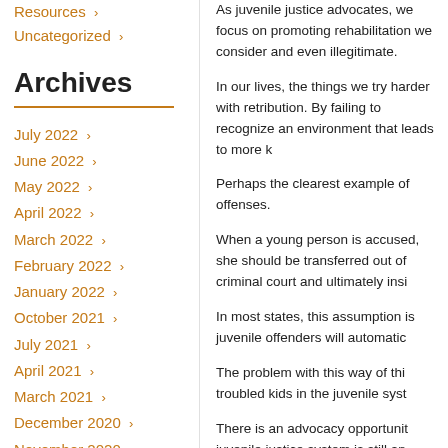Resources ›
Uncategorized ›
Archives
July 2022 ›
June 2022 ›
May 2022 ›
April 2022 ›
March 2022 ›
February 2022 ›
January 2022 ›
October 2021 ›
July 2021 ›
April 2021 ›
March 2021 ›
December 2020 ›
November 2020 ›
September 2020 ›
August 2020 ›
July 2020 ›
June 2020 ›
May 2020 ›
As juvenile justice advocates, we focus on promoting rehabilitation we consider and even illegitimate.
In our lives, the things we try harder with retribution. By failing to recognize an environment that leads to more...
Perhaps the clearest example of offenses.
When a young person is accused, she should be transferred out of criminal court and ultimately insi...
In most states, this assumption is juvenile offenders will automatically...
The problem with this way of thinking, troubled kids in the juvenile system...
There is an advocacy opportunity juvenile justice system is still an incarceration can inflict upon yo...
Science has taught us that long...